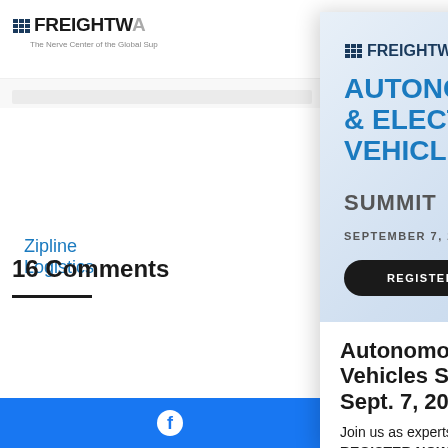FREIGHTWAVES — The Nerve Center of the Global Supply Chain
Zipline Logistics
16 Comments
Load more comments
Friday, November 2, 2
You can't regulate me... ambulance chasing a... limiters. The ELD is o... cheat but it is still pos...
[Figure (screenshot): FreightWaves Autonomous & Electric Vehicles Summit advertisement overlay with REGISTER NOW button, truck illustration, date September 7, 2022, and a close X button in top right corner]
Autonomous & Electric Vehicles Summit | Sept. 7, 2022
Join us as experts discuss innovations in electrification and autonomous trucking REGISTER NOW!